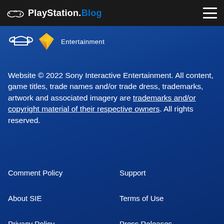PlayStation.Blog
[Figure (logo): PlayStation logo and Sony Interactive Entertainment logo with PlayStation Plus icon and 'Entertainment' text]
Website © 2022 Sony Interactive Entertainment. All content, game titles, trade names and/or trade dress, trademarks, artwork and associated imagery are trademarks and/or copyright material of their respective owners. All rights reserved.
Comment Policy
Support
About SIE
Terms of Use
Privacy Policy
Press Releases
Careers
Legal